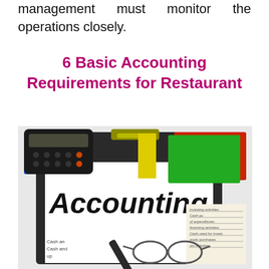management must monitor the operations closely.
6 Basic Accounting Requirements for Restaurant
[Figure (photo): Photo of a clipboard with a paper labeled 'Accounting' in large bold letters, along with a calculator, colorful folders, a pen, and glasses on a financial document background.]